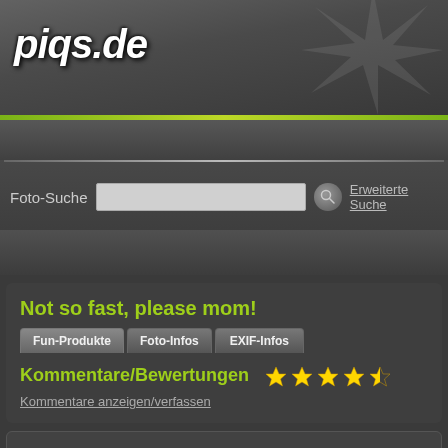[Figure (screenshot): piqs.de website header with logo and starburst graphic on dark gray background]
Foto-Suche
Erweiterte Suche
Not so fast, please mom!
Fun-Produkte | Foto-Infos | EXIF-Infos
Kommentare/Bewertungen
Kommentare anzeigen/verfassen